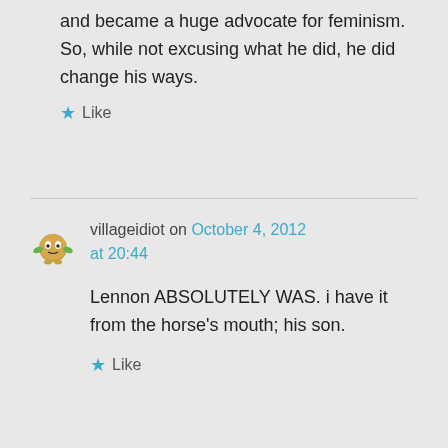and became a huge advocate for feminism. So, while not excusing what he did, he did change his ways.
★ Like
villageidiot on October 4, 2012 at 20:44
Lennon ABSOLUTELY WAS. i have it from the horse's mouth; his son.
★ Like